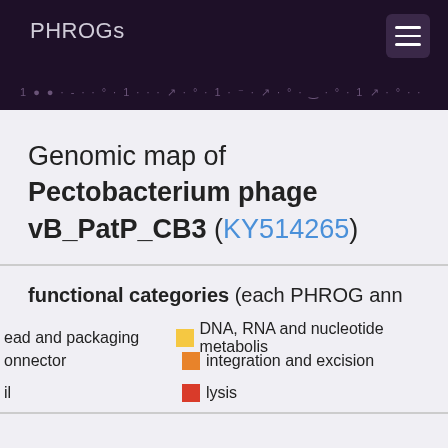PHROGs
Genomic map of Pectobacterium phage vB_PatP_CB3 (KY514265)
functional categories (each PHROG ann...
head and packaging
DNA, RNA and nucleotide metabolism
connector
integration and excision
lysis